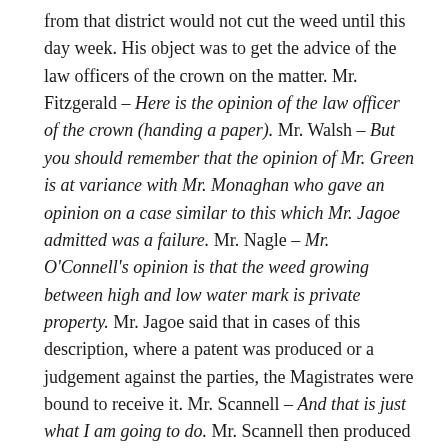from that district would not cut the weed until this day week. His object was to get the advice of the law officers of the crown on the matter. Mr. Fitzgerald – Here is the opinion of the law officer of the crown (handing a paper). Mr. Walsh – But you should remember that the opinion of Mr. Green is at variance with Mr. Monaghan who gave an opinion on a case similar to this which Mr. Jagoe admitted was a failure. Mr. Nagle – Mr. O'Connell's opinion is that the weed growing between high and low water mark is private property. Mr. Jagoe said that in cases of this description, where a patent was produced or a judgement against the parties, the Magistrates were bound to receive it. Mr. Scannell – And that is just what I am going to do. Mr. Scannell then produced a grant of Charles the 2nd to Garrett Fitzgerald of the lands of Corkbeg.